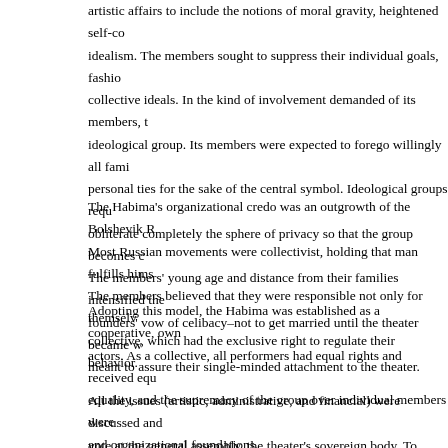artistic affairs to include the notions of moral gravity, heightened self-consciousness, and idealism. The members sought to suppress their individual goals, fashioning themselves after collective ideals. In the kind of involvement demanded of its members, the Habima resembled an ideological group. Its members were expected to forego willingly all family obligations and personal ties for the sake of the central symbol. Ideological groups require their members to obliterate completely the sphere of privacy so that the group becomes coextensive with life. The members' young age and distance from their families intensified their dependence on it. The founders' vow of celibacy–not to get married until the theater became world-famous–was meant to assure their single-minded attachment to the theater.
The Habima's organizational credo was an outgrowth of the Bolshevik Revolution's ethos. Most Russian movements were collectivist, holding that man fulfills himself only in the group. The members believed that they were responsible not only for themselves but also for the collective, which had the exclusive right to regulate their behavior.
Adopting this model, the Habima was established as a cooperative, owned and run by its actors. As a collective, all performers had equal rights and received equal pay. Collectivism, equality, and the supremacy of the group over individual members were the Habima's ideological and organizational foundations.
All the issues (artistic, administrative, and financial) were discussed and decided by majority vote at the general assembly, the theater's sovereign body. To prevent